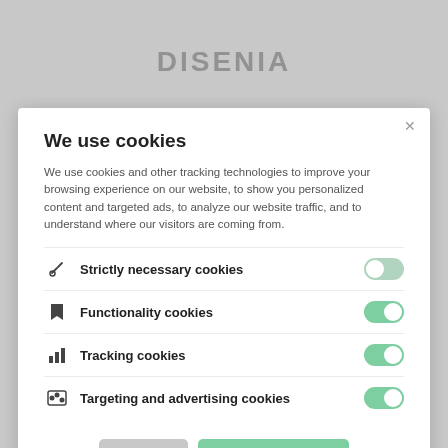We use cookies
We use cookies and other tracking technologies to improve your browsing experience on our website, to show you personalized content and targeted ads, to analyze our website traffic, and to understand where our visitors are coming from.
Strictly necessary cookies
Functionality cookies
Tracking cookies
Targeting and advertising cookies
Privacy Policy
Accept selected cookies